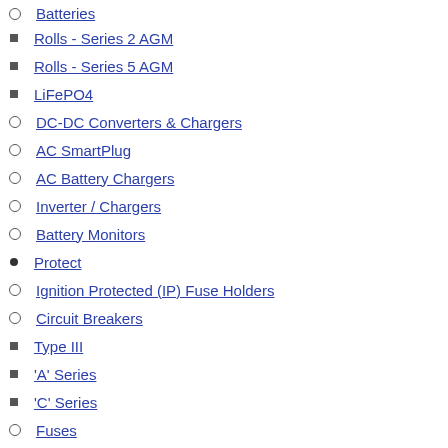Batteries (partial, top cut off)
Rolls - Series 2 AGM
Rolls - Series 5 AGM
LiFePO4
DC-DC Converters & Chargers
AC SmartPlug
AC Battery Chargers
Inverter / Chargers
Battery Monitors
Protect
Ignition Protected (IP) Fuse Holders
Circuit Breakers
Type III
'A' Series
'C' Series
Fuses
Fuse and Breaker Holders
Fuse Blocks
Circuit Breaker Holders
Distribute
BusBars
BusBar Covers
Terminal Blocks